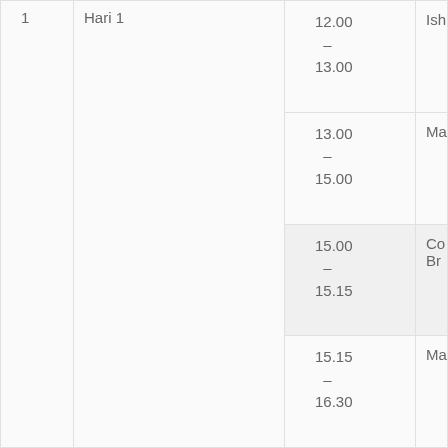| No | Hari | Waktu | Kegiatan |
| --- | --- | --- | --- |
| 1 | Hari 1 | 12.00 – 13.00 | Ish... |
|  |  | 13.00 – 15.00 | Ma... |
|  |  | 15.00 – 15.15 | Co... Br... |
|  |  | 15.15 – 16.30 | Ma... |